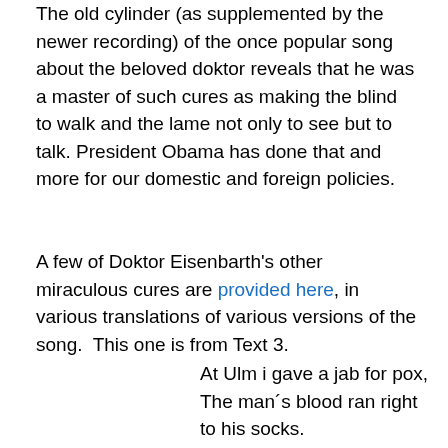The old cylinder (as supplemented by the newer recording) of the once popular song about the beloved doktor reveals that he was a master of such cures as making the blind to walk and the lame not only to see but to talk. President Obama has done that and more for our domestic and foreign policies.
A few of Doktor Eisenbarth's other miraculous cures are provided here, in various translations of various versions of the song.  This one is from Text 3.
At Ulm i gave a jab for pox,
The man´s blood ran right to his socks.
This vaccination stunt's a hit,
My needle is a roasting spit.
The sexton's son at Dideldum